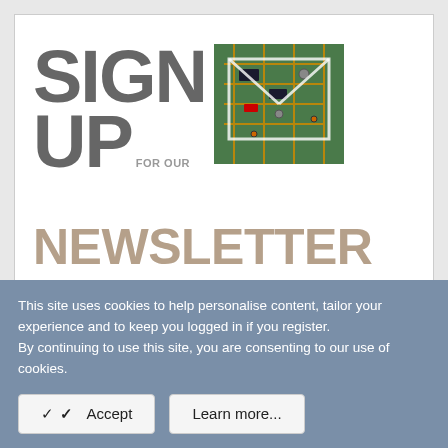[Figure (illustration): Sign up for our newsletter banner with large bold SIGN UP text in gray, 'FOR OUR' text, and NEWSLETTER in tan/beige, alongside a PCB circuit board photo]
» New Articles From Microcontroller Tips
Securing automotive ICs with formal methods
Fri, 19 Aug 2022 14:52:07 PDT
OpenVPX carrier cards host XMC interfaces
This site uses cookies to help personalise content, tailor your experience and to keep you logged in if you register.
By continuing to use this site, you are consenting to our use of cookies.